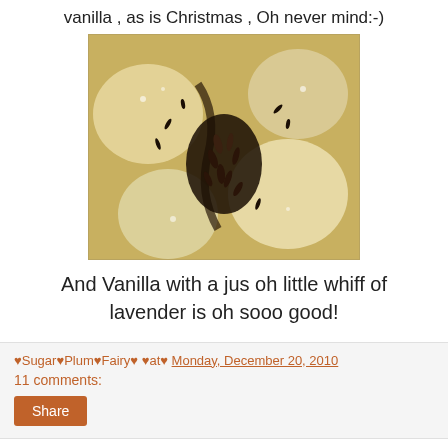vanilla , as is Christmas , Oh never mind:-)
[Figure (photo): Close-up photo of vanilla seeds/pods nestled in white sugar crystals in a glass jar, viewed from above.]
And Vanilla with a jus oh little whiff of lavender is oh sooo good!
♥Sugar♥Plum♥Fairy♥ ♥at♥ Monday, December 20, 2010
11 comments:
Share
Thursday, December 16, 2010
~~FRENCH LEEK & POTATO SOUP 2ways with GLAZED